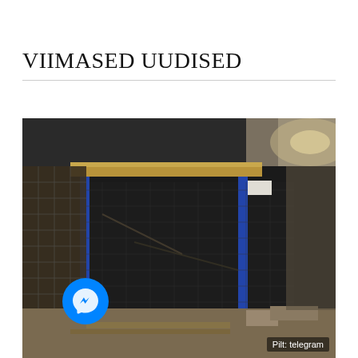VIIMASED UUDISED
[Figure (photo): Indoor warehouse or industrial space showing a large dark structure wrapped in netting or mesh material, supported by blue metal scaffolding/racking. Wooden planks visible on top. Debris and boxes on floor. A Facebook Messenger icon button is overlaid in the bottom-left corner. A caption reads 'Pilt: telegram' in the bottom-right corner.]